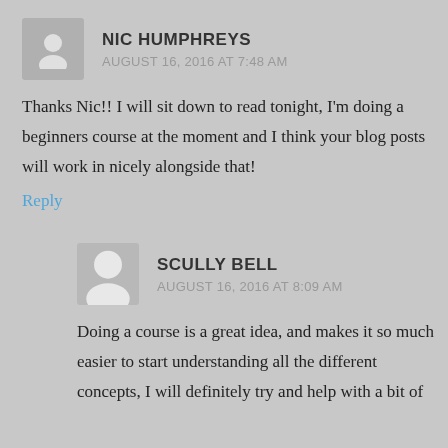NIC HUMPHREYS
AUGUST 16, 2016 AT 7:48 AM
Thanks Nic!! I will sit down to read tonight, I'm doing a beginners course at the moment and I think your blog posts will work in nicely alongside that!
Reply
SCULLY BELL
AUGUST 16, 2016 AT 8:09 AM
Doing a course is a great idea, and makes it so much easier to start understanding all the different concepts, I will definitely try and help with a bit of